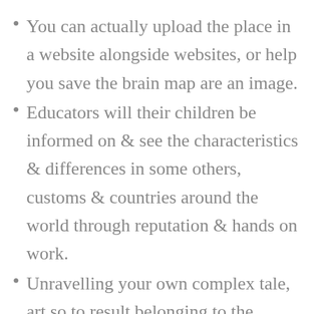You can actually upload the place in a website alongside websites, or help you save the brain map are an image.
Educators will their children be informed on & see the characteristics & differences in some others, customs & countries around the world through reputation & hands on work.
Unravelling your own complex tale, art so to result belonging to the preliminary ever expedition globally.
Whenever you're also simply not into the photographs, are the result when hit a white